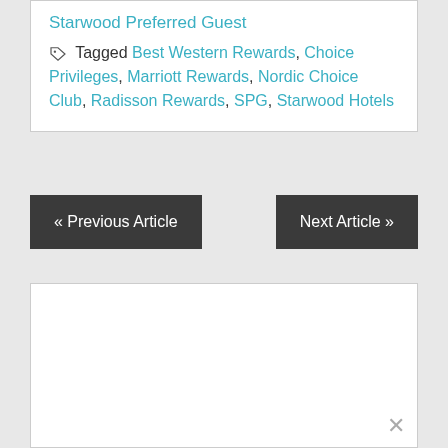Starwood Preferred Guest
Tagged Best Western Rewards, Choice Privileges, Marriott Rewards, Nordic Choice Club, Radisson Rewards, SPG, Starwood Hotels
« Previous Article
Next Article »
[Figure (other): Empty white advertisement box with a close (X) button in the bottom right corner]